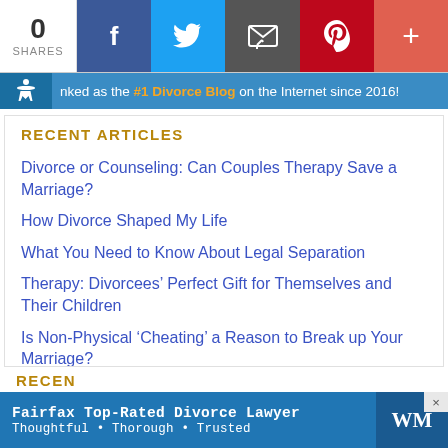[Figure (infographic): Social share bar with 0 shares and buttons for Facebook, Twitter, Email, Pinterest, and more (+)]
Ranked as the #1 Divorce Blog on the Internet since 2016!
RECENT ARTICLES
Divorce or Counseling: Can Couples Therapy Save a Marriage?
How Divorce Shaped My Life
What You Need to Know About Legal Separation
Therapy: Divorcees' Perfect Gift for Themselves and Their Children
Is Non-Physical ‘Cheating’ a Reason to Break up Your Marriage?
RECEN...
[Figure (infographic): Advertisement: Fairfax Top-Rated Divorce Lawyer - Thoughtful • Thorough • Trusted, with WM logo]